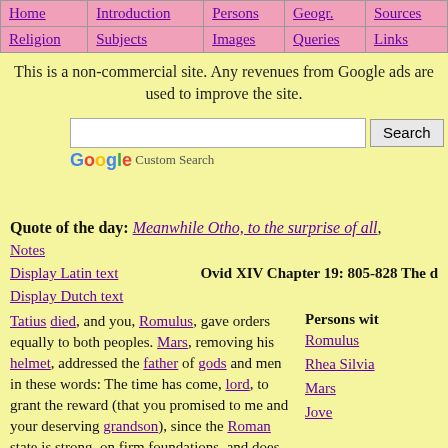Home | Introduction | Persons | Geogr. | Sources | Religion | Subjects | Images | Queries | Links
This is a non-commercial site. Any revenues from Google ads are used to improve the site.
Google Custom Search [search box]
Quote of the day: Meanwhile Otho, to the surprise of all,
Notes
Display Latin text
Display Dutch text
Ovid XIV Chapter 19: 805-828 The d
Tatius died, and you, Romulus, gave orders equally to both peoples. Mars, removing his helmet, addressed the father of gods and men in these words: The time has come, lord, to grant the reward (that you promised to me and your deserving grandson), since the Roman state is strong, on firm foundations, and does not depend on a single champion: free his spirit, and
Persons wit
Romulus
Rhea Silvia
Mars
Jove